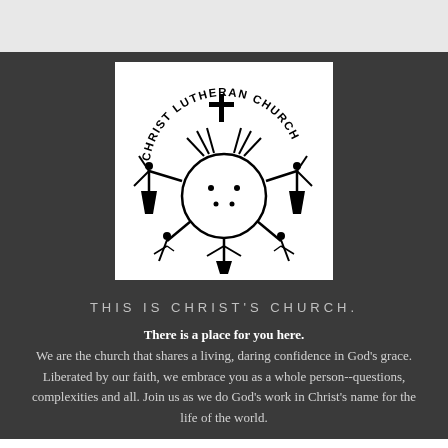[Figure (logo): Christ Lutheran Church circular logo with stylized figures of people holding hands around a cross, with text 'CHRIST LUTHERAN CHURCH' arched around the top]
THIS IS CHRIST'S CHURCH.
There is a place for you here. We are the church that shares a living, daring confidence in God's grace. Liberated by our faith, we embrace you as a whole person--questions, complexities and all. Join us as we do God's work in Christ's name for the life of the world.